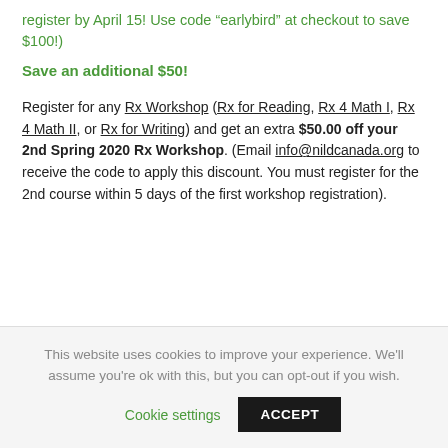register by April 15! Use code “earlybird” at checkout to save $100!)
Save an additional $50!
Register for any Rx Workshop (Rx for Reading, Rx 4 Math I, Rx 4 Math II, or Rx for Writing) and get an extra $50.00 off your 2nd Spring 2020 Rx Workshop. (Email info@nildcanada.org to receive the code to apply this discount. You must register for the 2nd course within 5 days of the first workshop registration).
This website uses cookies to improve your experience. We’ll assume you’re ok with this, but you can opt-out if you wish. Cookie settings ACCEPT